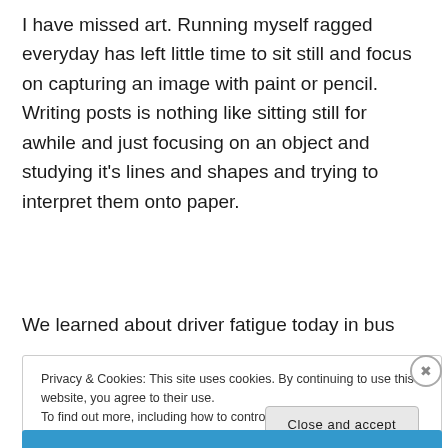I have missed art. Running myself ragged everyday has left little time to sit still and focus on capturing an image with paint or pencil. Writing posts is nothing like sitting still for awhile and just focusing on an object and studying it's lines and shapes and trying to interpret them onto paper.
We learned about driver fatigue today in bus
Privacy & Cookies: This site uses cookies. By continuing to use this website, you agree to their use.
To find out more, including how to control cookies, see here: Cookie Policy
Close and accept